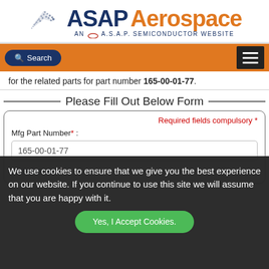[Figure (logo): ASAP Aerospace logo with airplane icon and 'AN A.S.A.P. SEMICONDUCTOR WEBSITE' tagline]
[Figure (screenshot): Orange navigation bar with Search button and hamburger menu]
for the related parts for part number 165-00-01-77.
Please Fill Out Below Form
Required fields compulsory *
Mfg Part Number* :
165-00-01-77
Manufacturer *
We use cookies to ensure that we give you the best experience on our website. If you continue to use this site we will assume that you are happy with it.
Yes, I Accept Cookies.